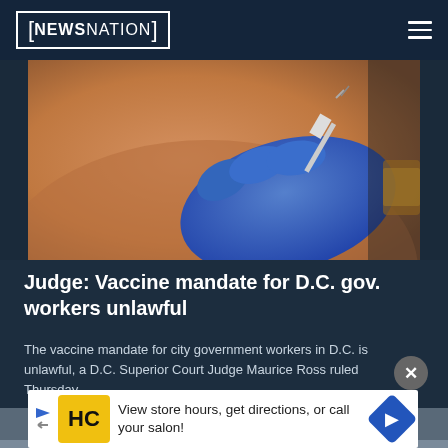[NEWSNATION]
[Figure (photo): A healthcare worker wearing blue latex gloves administers a vaccine injection into a person's shoulder/upper arm.]
Judge: Vaccine mandate for D.C. gov. workers unlawful
The vaccine mandate for city government workers in D.C. is unlawful, a D.C. Superior Court Judge Maurice Ross ruled Thursday.
[Figure (other): Advertisement banner: HC logo (Hair Club), with text 'View store hours, get directions, or call your salon!' and a navigation arrow icon.]